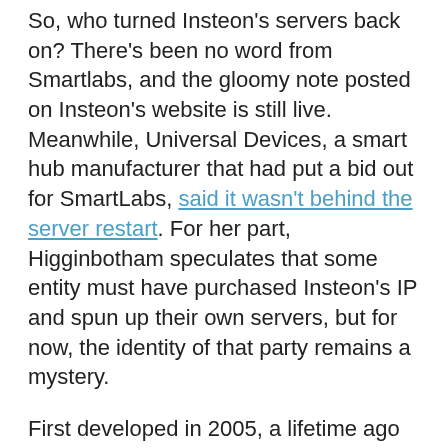So, who turned Insteon's servers back on? There's been no word from Smartlabs, and the gloomy note posted on Insteon's website is still live. Meanwhile, Universal Devices, a smart hub manufacturer that had put a bid out for SmartLabs, said it wasn't behind the server restart. For her part, Higginbotham speculates that some entity must have purchased Insteon's IP and spun up their own servers, but for now, the identity of that party remains a mystery.
First developed in 2005, a lifetime ago as far as smart home is concerned, Insteon is a proprietary smart home technology that employs both powerline and wireless networking, and Insteon was one of the first smart home manufacturers to support HomeKit.